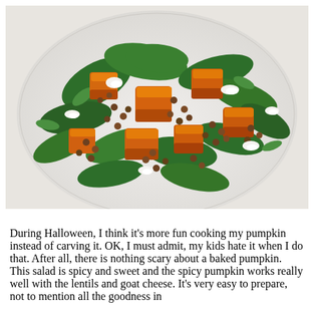[Figure (photo): A colorful salad on a white decorative plate, featuring roasted orange pumpkin cubes, green spinach and herb leaves, brown lentils, and crumbled white goat cheese.]
During Halloween, I think it's more fun cooking my pumpkin instead of carving it. OK, I must admit, my kids hate it when I do that. After all, there is nothing scary about a baked pumpkin. This salad is spicy and sweet and the spicy pumpkin works really well with the lentils and goat cheese. It's very easy to prepare, not to mention all the goodness in